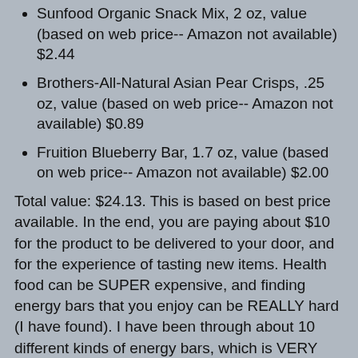Sunfood Organic Snack Mix, 2 oz, value (based on web price-- Amazon not available) $2.44
Brothers-All-Natural Asian Pear Crisps, .25 oz, value (based on web price-- Amazon not available) $0.89
Fruition Blueberry Bar, 1.7 oz, value (based on web price-- Amazon not available) $2.00
Total value: $24.13. This is based on best price available. In the end, you are paying about $10 for the product to be delivered to your door, and for the experience of tasting new items. Health food can be SUPER expensive, and finding energy bars that you enjoy can be REALLY hard (I have found). I have been through about 10 different kinds of energy bars, which is VERY expensive, especially if I end up with a box of ones that I do not like! The same with Coconut water-- which I STILL have a case of in my basement! This service allows you to try out the different products available, so that you can order it in larger quantities if you like the products.